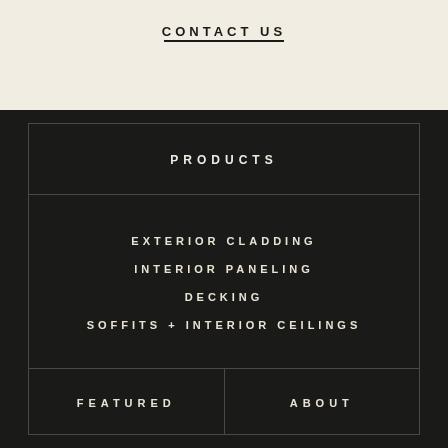CONTACT US
PRODUCTS
EXTERIOR CLADDING
INTERIOR PANELING
DECKING
SOFFITS + INTERIOR CEILINGS
FEATURED
ABOUT